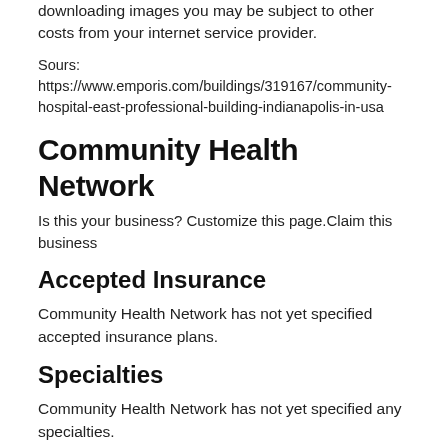downloading images you may be subject to other costs from your internet service provider.
Sours: https://www.emporis.com/buildings/319167/community-hospital-east-professional-building-indianapolis-in-usa
Community Health Network
Is this your business? Customize this page.Claim this business
Accepted Insurance
Community Health Network has not yet specified accepted insurance plans.
Specialties
Community Health Network has not yet specified any specialties.
Services